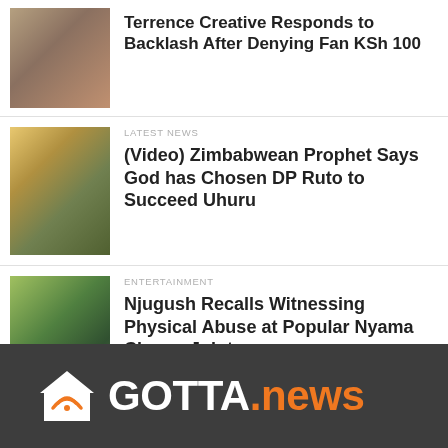[Figure (photo): Thumbnail photo of a person, top story about Terrence Creative]
Terrence Creative Responds to Backlash After Denying Fan KSh 100
LATEST NEWS
[Figure (photo): Thumbnail photo showing people, story about Zimbabwean Prophet]
(Video) Zimbabwean Prophet Says God has Chosen DP Ruto to Succeed Uhuru
ENTERTAINMENT
[Figure (photo): Thumbnail photo of a person outdoors, story about Njugush]
Njugush Recalls Witnessing Physical Abuse at Popular Nyama Choma Joint
GOTTA.news